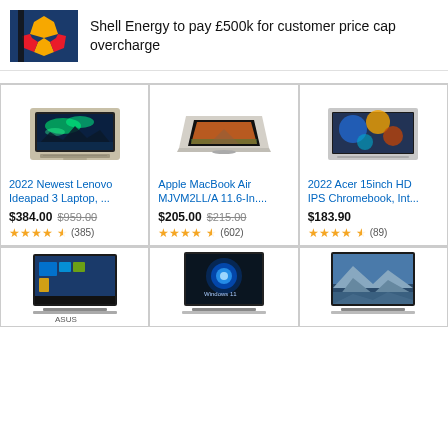[Figure (photo): Shell logo on blue background]
Shell Energy to pay £500k for customer price cap overcharge
[Figure (photo): Lenovo Ideapad 3 laptop product image]
2022 Newest Lenovo Ideapad 3 Laptop, ...
$384.00  $959.00  ★★★★½ (385)
[Figure (photo): Apple MacBook Air MJVM2LL/A product image]
Apple MacBook Air MJVM2LL/A 11.6-In....
$205.00  $215.00  ★★★★½ (602)
[Figure (photo): Acer 15inch HD IPS Chromebook product image]
2022 Acer 15inch HD IPS Chromebook, Int...
$183.90  ★★★★½ (89)
[Figure (photo): ASUS laptop showing Windows 10 desktop]
[Figure (photo): Laptop showing Windows 11 screen]
[Figure (photo): Laptop showing mountain landscape wallpaper]